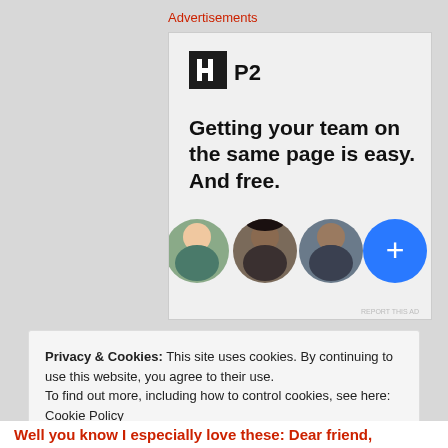Advertisements
[Figure (infographic): P2 advertisement showing logo, headline 'Getting your team on the same page is easy. And free.' with three circular avatar photos and a blue plus button circle]
Privacy & Cookies: This site uses cookies. By continuing to use this website, you agree to their use.
To find out more, including how to control cookies, see here: Cookie Policy
Close and accept
Well you know I especially love these: Dear friend,